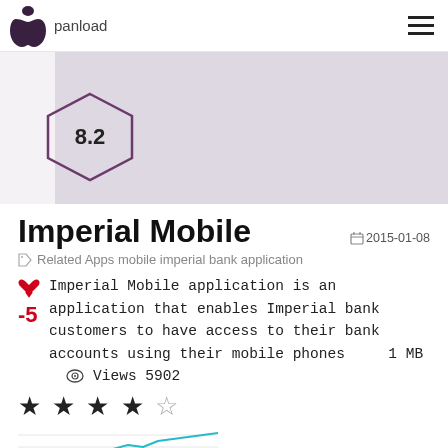panload
[Figure (other): App banner with hexagonal score badge showing 8.2 on a light grey background]
Imperial Mobile
2015-01-08
Related Apps mobile imperial bank application
-5  Imperial Mobile application is an application that enables Imperial bank customers to have access to their bank accounts using their mobile phones    1 MB   Views 5902
[Figure (line-chart): Small sparkline/trend chart with teal line showing usage trend]